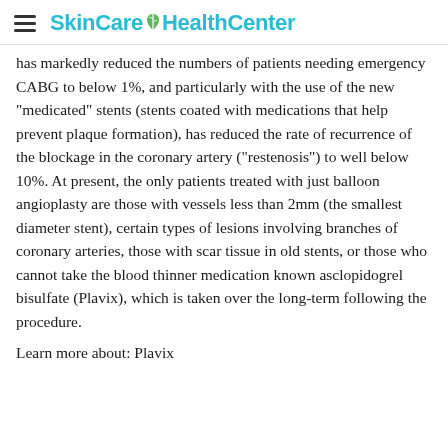SkinCare HealthCenter
has markedly reduced the numbers of patients needing emergency CABG to below 1%, and particularly with the use of the new "medicated" stents (stents coated with medications that help prevent plaque formation), has reduced the rate of recurrence of the blockage in the coronary artery ("restenosis") to well below 10%. At present, the only patients treated with just balloon angioplasty are those with vessels less than 2mm (the smallest diameter stent), certain types of lesions involving branches of coronary arteries, those with scar tissue in old stents, or those who cannot take the blood thinner medication known asclopidogrel bisulfate (Plavix), which is taken over the long-term following the procedure.
Learn more about: Plavix